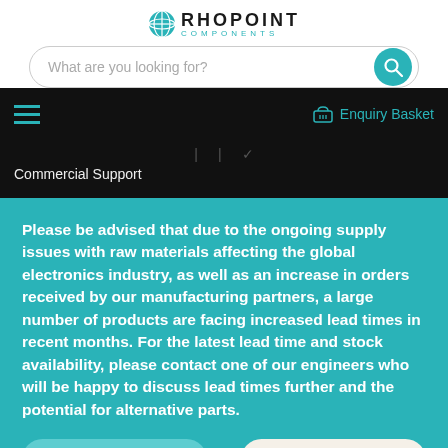[Figure (logo): Rhopoint Components logo with teal globe icon and company name]
What are you looking for?
Enquiry Basket
Commercial Support
Please be advised that due to the ongoing supply issues with raw materials affecting the global electronics industry, as well as an increase in orders received by our manufacturing partners, a large number of products are facing increased lead times in recent months. For the latest lead time and stock availability, please contact one of our engineers who will be happy to discuss lead times further and the potential for alternative parts.
Contact us
Close